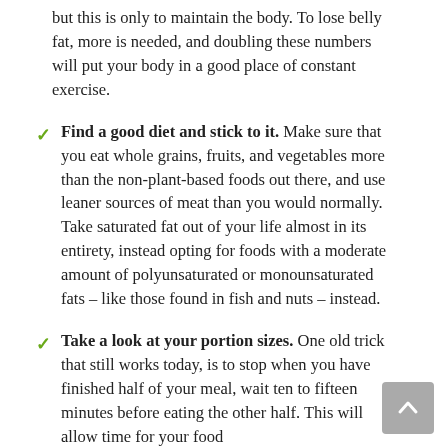but this is only to maintain the body. To lose belly fat, more is needed, and doubling these numbers will put your body in a good place of constant exercise.
Find a good diet and stick to it. Make sure that you eat whole grains, fruits, and vegetables more than the non-plant-based foods out there, and use leaner sources of meat than you would normally. Take saturated fat out of your life almost in its entirety, instead opting for foods with a moderate amount of polyunsaturated or monounsaturated fats – like those found in fish and nuts – instead.
Take a look at your portion sizes. One old trick that still works today, is to stop when you have finished half of your meal, wait ten to fifteen minutes before eating the other half. This will allow time for your food to...